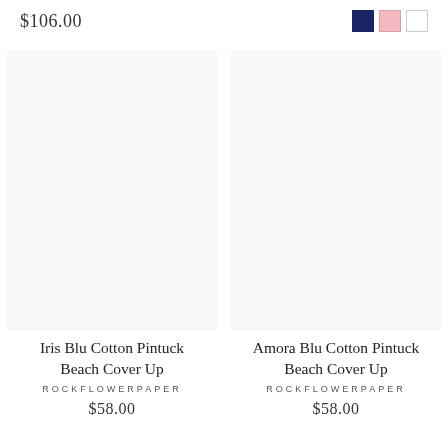$106.00
[Figure (other): Three color swatches: navy blue, pink, and white]
[Figure (photo): Product image area for Iris Blu Cotton Pintuck Beach Cover Up]
Iris Blu Cotton Pintuck Beach Cover Up
ROCKFLOWERPAPER
$58.00
[Figure (photo): Product image area for Amora Blu Cotton Pintuck Beach Cover Up]
Amora Blu Cotton Pintuck Beach Cover Up
ROCKFLOWERPAPER
$58.00